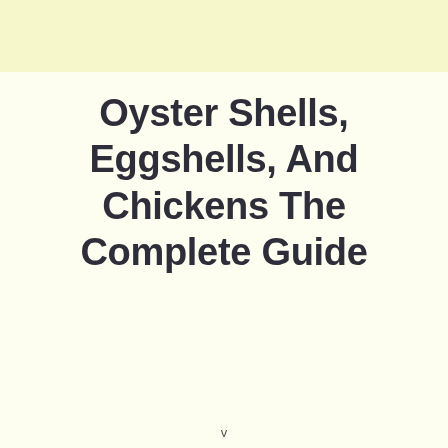Oyster Shells, Eggshells, And Chickens The Complete Guide
v